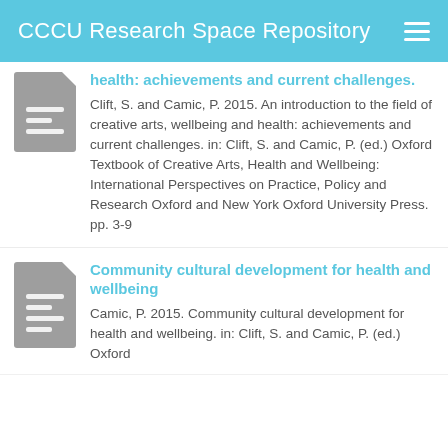CCCU Research Space Repository
health: achievements and current challenges.
Clift, S. and Camic, P. 2015. An introduction to the field of creative arts, wellbeing and health: achievements and current challenges. in: Clift, S. and Camic, P. (ed.) Oxford Textbook of Creative Arts, Health and Wellbeing: International Perspectives on Practice, Policy and Research Oxford and New York Oxford University Press. pp. 3-9
Community cultural development for health and wellbeing
Camic, P. 2015. Community cultural development for health and wellbeing. in: Clift, S. and Camic, P. (ed.) Oxford...